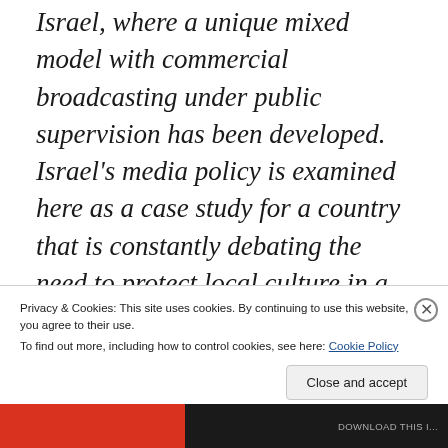Israel, where a unique mixed model with commercial broadcasting under public supervision has been developed. Israel's media policy is examined here as a case study for a country that is constantly debating the need to protect local culture in a competitive, highly advanced and global media market. Whereas media policy had
Privacy & Cookies: This site uses cookies. By continuing to use this website, you agree to their use.
To find out more, including how to control cookies, see here: Cookie Policy
Close and accept